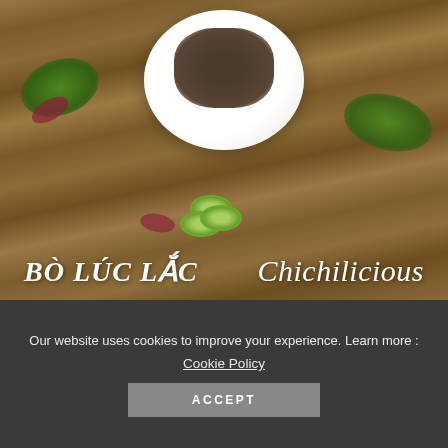[Figure (photo): Overhead photo of Vietnamese Bo Luc Lac (shaking beef) dish on a white plate with lettuce, tomatoes, cucumbers, and red onions on a wooden table. Text overlay reads 'Bò Lúc Lắc' on the left and 'Chichilicious' on the right.]
Our website uses cookies to improve your experience. Learn more : Cookie Policy ACCEPT